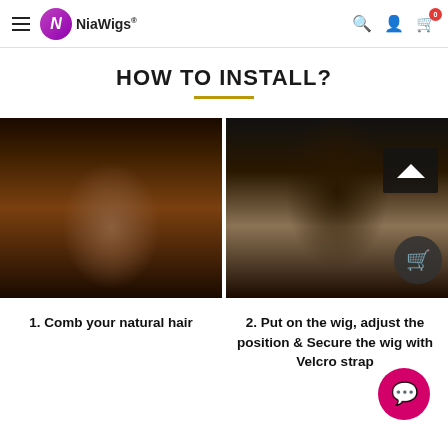NiaWigs® navigation bar with hamburger menu, logo, search, account, and cart (0)
HOW TO INSTALL?
[Figure (photo): Woman combing her natural hair near the hairline using a purple tool, preparing for wig installation]
[Figure (photo): Back of a person's head showing hands securing a wig with velcro strap; arrow-up and bag overlay icons visible]
1. Comb your natural hair
2. Put on the wig, adjust the position & Secure the wig with Velcro strap